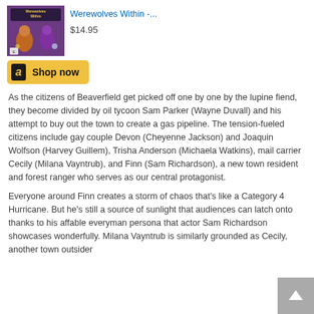[Figure (photo): Werewolves Within video game box art with colorful characters]
Werewolves Within -...
$14.95
[Figure (logo): Amazon Shop now button with Amazon logo]
As the citizens of Beaverfield get picked off one by one by the lupine fiend, they become divided by oil tycoon Sam Parker (Wayne Duvall) and his attempt to buy out the town to create a gas pipeline. The tension-fueled citizens include gay couple Devon (Cheyenne Jackson) and Joaquin Wolfson (Harvey Guillem), Trisha Anderson (Michaela Watkins), mail carrier Cecily (Milana Vayntrub), and Finn (Sam Richardson), a new town resident and forest ranger who serves as our central protagonist.
Everyone around Finn creates a storm of chaos that's like a Category 4 Hurricane. But he's still a source of sunlight that audiences can latch onto thanks to his affable everyman persona that actor Sam Richardson showcases wonderfully. Milana Vayntrub is similarly grounded as Cecily, another town outsider